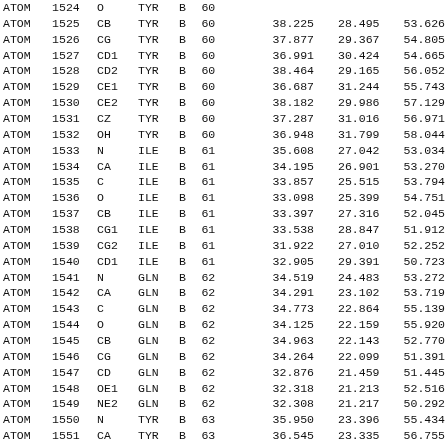| type | serial | name | res | chain | seq |  | x | y | z |
| --- | --- | --- | --- | --- | --- | --- | --- | --- | --- |
| ATOM | 1524 | O | TYR | B | 60 |  | ... | ... | ... |
| ATOM | 1525 | CB | TYR | B | 60 |  | 38.225 | 28.495 | 53.626 |
| ATOM | 1526 | CG | TYR | B | 60 |  | 37.877 | 29.367 | 54.805 |
| ATOM | 1527 | CD1 | TYR | B | 60 |  | 36.991 | 30.424 | 54.665 |
| ATOM | 1528 | CD2 | TYR | B | 60 |  | 38.464 | 29.165 | 56.052 |
| ATOM | 1529 | CE1 | TYR | B | 60 |  | 36.687 | 31.244 | 55.743 |
| ATOM | 1530 | CE2 | TYR | B | 60 |  | 38.182 | 29.986 | 57.129 |
| ATOM | 1531 | CZ | TYR | B | 60 |  | 37.287 | 31.016 | 56.971 |
| ATOM | 1532 | OH | TYR | B | 60 |  | 36.948 | 31.799 | 58.044 |
| ATOM | 1533 | N | ILE | B | 61 |  | 35.608 | 27.042 | 53.034 |
| ATOM | 1534 | CA | ILE | B | 61 |  | 34.195 | 26.901 | 53.270 |
| ATOM | 1535 | C | ILE | B | 61 |  | 33.857 | 25.515 | 53.794 |
| ATOM | 1536 | O | ILE | B | 61 |  | 33.098 | 25.399 | 54.751 |
| ATOM | 1537 | CB | ILE | B | 61 |  | 33.397 | 27.316 | 52.045 |
| ATOM | 1538 | CG1 | ILE | B | 61 |  | 33.538 | 28.847 | 51.912 |
| ATOM | 1539 | CG2 | ILE | B | 61 |  | 31.922 | 27.010 | 52.252 |
| ATOM | 1540 | CD1 | ILE | B | 61 |  | 32.905 | 29.391 | 50.723 |
| ATOM | 1541 | N | GLN | B | 62 |  | 34.519 | 24.483 | 53.272 |
| ATOM | 1542 | CA | GLN | B | 62 |  | 34.291 | 23.102 | 53.719 |
| ATOM | 1543 | C | GLN | B | 62 |  | 34.773 | 22.864 | 55.139 |
| ATOM | 1544 | O | GLN | B | 62 |  | 34.125 | 22.159 | 55.920 |
| ATOM | 1545 | CB | GLN | B | 62 |  | 34.963 | 22.143 | 52.770 |
| ATOM | 1546 | CG | GLN | B | 62 |  | 34.264 | 22.099 | 51.391 |
| ATOM | 1547 | CD | GLN | B | 62 |  | 32.876 | 21.459 | 51.445 |
| ATOM | 1548 | OE1 | GLN | B | 62 |  | 32.318 | 21.213 | 52.516 |
| ATOM | 1549 | NE2 | GLN | B | 62 |  | 32.308 | 21.217 | 50.292 |
| ATOM | 1550 | N | TYR | B | 63 |  | 35.950 | 23.396 | 55.434 |
| ATOM | 1551 | CA | TYR | B | 63 |  | 36.545 | 23.335 | 56.755 |
| ATOM | 1552 | C | TYR | B | 63 |  | 35.555 | 23.954 | 57.736 |
| ATOM | 1553 | O | TYR | B | 63 |  | 35.162 | 23.291 | 58.692 |
| ATOM | 1554 | CB | TYR | B | 63 |  | 37.911 | 24.165 | 56.710 |